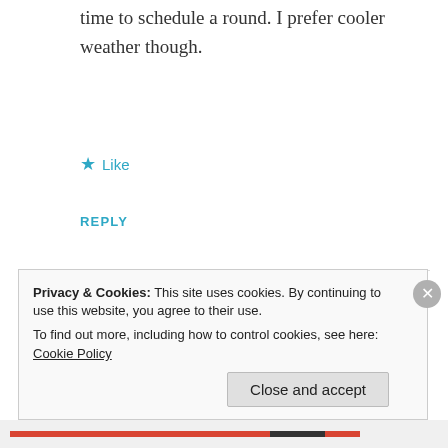time to schedule a round. I prefer cooler weather though.
★ Like
REPLY
[Figure (illustration): Green dashed-circle avatar with a decorative four-pointed diamond/cross pattern icon in dark green]
Chuck
SEPTEMBER 24, 2013 AT 1:21 PM
Privacy & Cookies: This site uses cookies. By continuing to use this website, you agree to their use. To find out more, including how to control cookies, see here: Cookie Policy
Close and accept